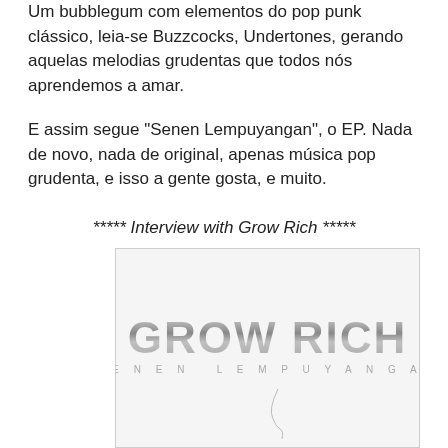Um bubblegum com elementos do pop punk clássico, leia-se Buzzcocks, Undertones, gerando aquelas melodias grudentas que todos nós aprendemos a amar.
E assim segue "Senen Lempuyangan", o EP. Nada de novo, nada de original, apenas música pop grudenta, e isso a gente gosta, e muito.
***** Interview with Grow Rich *****
[Figure (logo): Grow Rich band logo with metallic silver gradient text reading 'GROW RICH' in large bold letters, with 'SENEN LEMPUYANGAN' in spaced small caps below. White/light gray background with a faint scratch/signature mark at the bottom.]